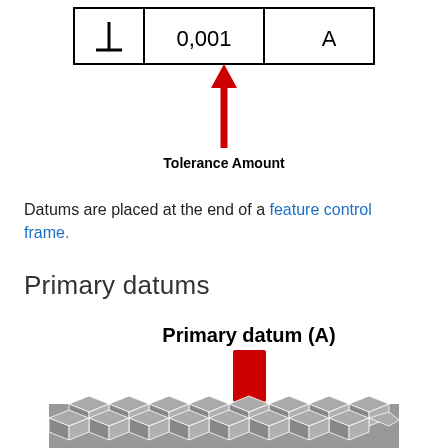[Figure (engineering-diagram): Feature control frame showing tolerance symbol box with perpendicularity symbol, value 0,001, and datum reference A. A red upward arrow below points to the tolerance value with label 'Tolerance Amount'.]
Datums are placed at the end of a feature control frame.
Primary datums
[Figure (engineering-diagram): Diagram showing 'Primary datum (A)' label above a red rectangular pin/datum target symbol sitting on top of a grey 3D cube surface pattern representing a machined surface.]